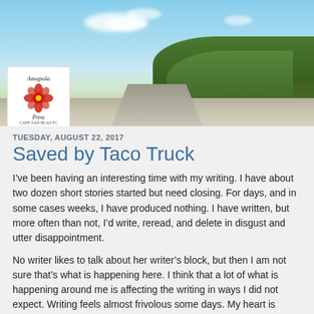[Figure (photo): Header photo of a road stretching into the distance under a blue sky with clouds, green trees on the right, with an Amapola Press logo overlay in the bottom-left corner of the image.]
TUESDAY, AUGUST 22, 2017
Saved by Taco Truck
I’ve been having an interesting time with my writing. I have about two dozen short stories started but need closing. For days, and in some cases weeks, I have produced nothing. I have written, but more often than not, I’d write, reread, and delete in disgust and utter disappointment.
No writer likes to talk about her writer’s block, but then I am not sure that’s what is happening here. I think that a lot of what is happening around me is affecting the writing in ways I did not expect. Writing feels almost frivolous some days. My heart is